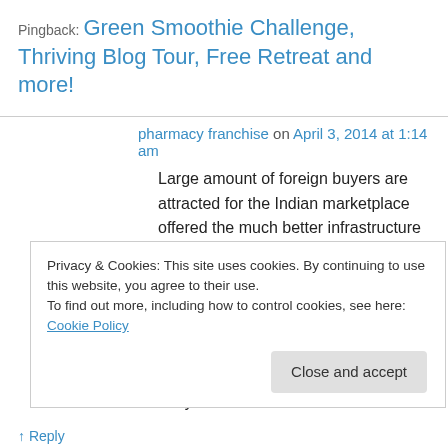Pingback: Green Smoothie Challenge, Thriving Blog Tour, Free Retreat and more!
pharmacy franchise on April 3, 2014 at 1:14 am
Large amount of foreign buyers are attracted for the Indian marketplace offered the much better infrastructure and uncomplicated laws. A lot of are dreaming to have a efficient enterprise but only number of of them has their success story to
Privacy & Cookies: This site uses cookies. By continuing to use this website, you agree to their use.
To find out more, including how to control cookies, see here: Cookie Policy
Close and accept